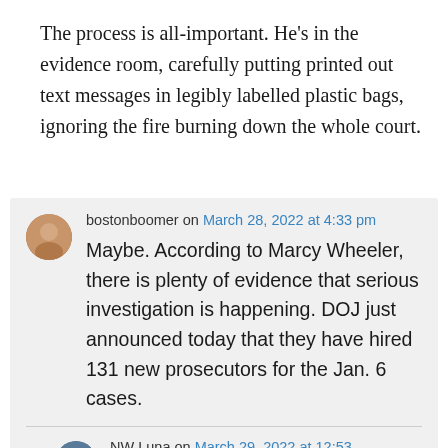The process is all-important. He's in the evidence room, carefully putting printed out text messages in legibly labelled plastic bags, ignoring the fire burning down the whole court.
bostonboomer on March 28, 2022 at 4:33 pm
Maybe. According to Marcy Wheeler, there is plenty of evidence that serious investigation is happening. DOJ just announced today that they have hired 131 new prosecutors for the Jan. 6 cases.
NW Luna on March 29, 2022 at 12:53 am